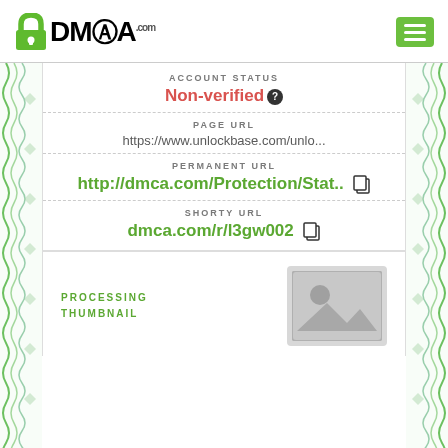[Figure (logo): DMCA.com logo with padlock icon]
ACCOUNT STATUS
Non-verified
PAGE URL
https://www.unlockbase.com/unlo...
PERMANENT URL
http://dmca.com/Protection/Stat..
SHORTY URL
dmca.com/r/l3gw002
PROCESSING THUMBNAIL
[Figure (photo): Processing thumbnail placeholder image]